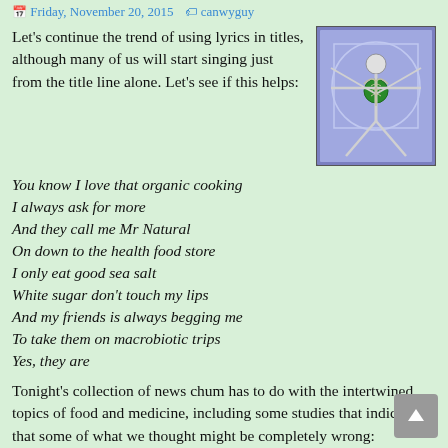Friday, November 20, 2015   canwyguy
Let's continue the trend of using lyrics in titles, although many of us will start singing just from the title line alone. Let's see if this helps:
[Figure (illustration): Vitruvian Man style medical illustration with a caduceus symbol on a purple/blue background]
You know I love that organic cooking
I always ask for more
And they call me Mr Natural
On down to the health food store
I only eat good sea salt
White sugar don't touch my lips
And my friends is always begging me
To take them on macrobiotic trips
Yes, they are
Tonight's collection of news chum has to do with the intertwined topics of food and medicine, including some studies that indicate that some of what we thought might be completely wrong: